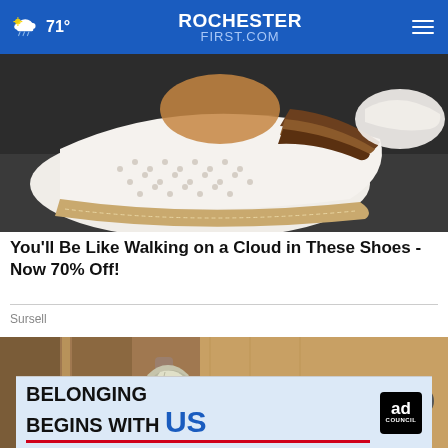71° ROCHESTER FIRST.COM
[Figure (photo): Close-up of a white perforated leather slip-on shoe with brown stripe accents and a tan sole, viewed from above on dark pavement]
You'll Be Like Walking on a Cloud in These Shoes - Now 70% Off!
Sursell
[Figure (photo): Close-up of a door handle/knob wrapped in aluminum foil, attached to a door]
[Figure (infographic): Ad banner: BELONGING BEGINS WITH US — Ad Council logo]